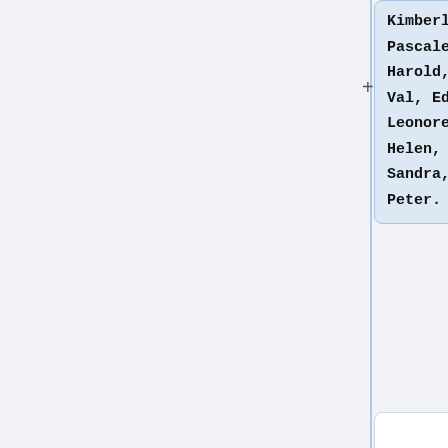Kimberly, Pascale, Harold, Val, Edith, Leonore, Helen, Sandra, Peter.
== Background and rationale ==
== Background and rationale ==
Recently, GO and IntAct have started to work
Recently, GO and Complex Portal have started to